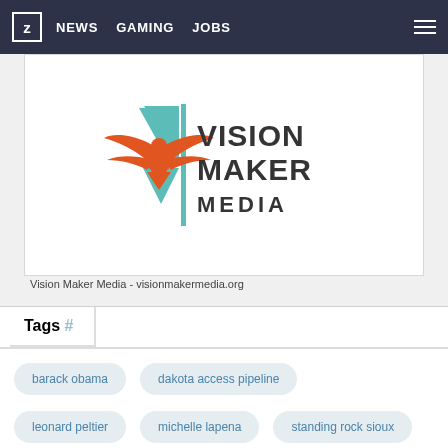Z | NEWS  GAMING  JOBS
[Figure (logo): Vision Maker Media logo — orange eagle/bird above a teal geometric arrow design, with 'VISION MAKER MEDIA' text in dark gray to the right of a vertical bar]
Vision Maker Media - visionmakermedia.org
Tags #
barack obama
dakota access pipeline
leonard peltier
michelle lapena
standing rock sioux